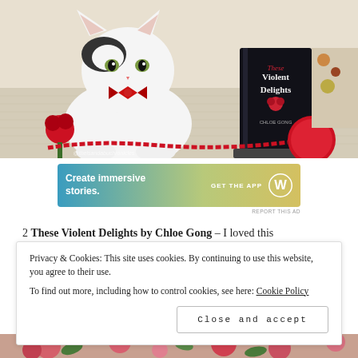[Figure (photo): A white cat with black markings wearing a red bow tie sits next to a copy of 'These Violent Delights' by Chloe Gong. Red roses and red beaded necklaces are arranged around the book on a light colored surface. Watermark reads @thelsandabuchronicles.]
[Figure (infographic): WordPress advertisement banner: 'Create immersive stories. GET THE APP' with WordPress logo on a blue-green to yellow gradient background.]
REPORT THIS AD
2 These Violent Delights by Chloe Gong – I loved this
Privacy & Cookies: This site uses cookies. By continuing to use this website, you agree to their use.
To find out more, including how to control cookies, see here: Cookie Policy
Close and accept
[Figure (photo): Floral arrangement with pink and red flowers visible at the bottom of the page.]